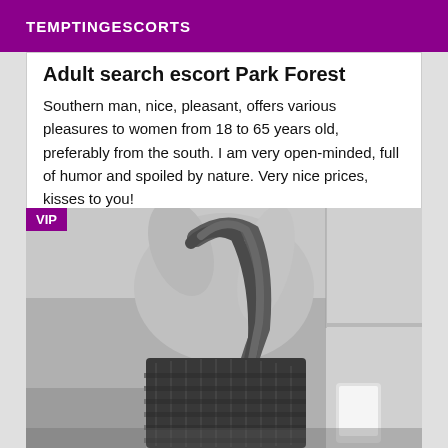TEMPTINGESCORTS
Adult search escort Park Forest
Southern man, nice, pleasant, offers various pleasures to women from 18 to 65 years old, preferably from the south. I am very open-minded, full of humor and spoiled by nature. Very nice prices, kisses to you!
[Figure (photo): Grayscale photo of a person from behind wearing a dark corset/top, with hair down, arms raised, indoors. Has a VIP badge overlay in purple at top-left.]